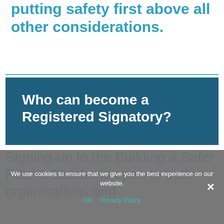putting safety first above all other considerations.
Who can become a Registered Signatory?
Signing-up to the Building a Safer Future Charter is open to both organisations and
We use cookies to ensure that we give you the best experience on our website.
OK   Privacy Policy